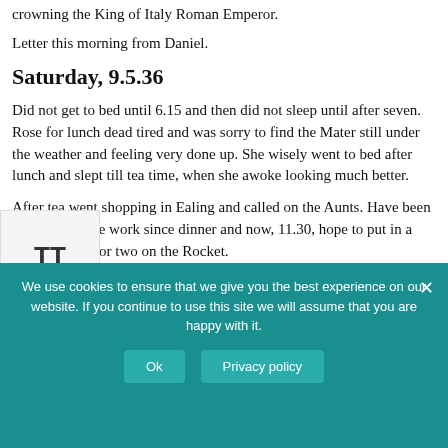crowning the King of Italy Roman Emperor.
Letter this morning from Daniel.
Saturday, 9.5.36
Did not get to bed until 6.15 and then did not sleep until after seven. Rose for lunch dead tired and was sorry to find the Mater still under the weather and feeling very done up. She wisely went to bed after lunch and slept till tea time, when she awoke looking much better.
After tea went shopping in Ealing and called on the Aunts. Have been busy on routine work since dinner and now, 11.30, hope to put in a care free hour or two on the Rocket.
We use cookies to ensure that we give you the best experience on our website. If you continue to use this site we will assume that you are happy with it.